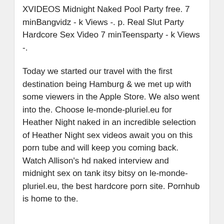XVIDEOS Midnight Naked Pool Party free. 7 minBangvidz - k Views -. p. Real Slut Party Hardcore Sex Video 7 minTeensparty - k Views -.
Today we started our travel with the first destination being Hamburg & we met up with some viewers in the Apple Store. We also went into the. Choose le-monde-pluriel.eu for Heather Night naked in an incredible selection of Heather Night sex videos await you on this porn tube and will keep you coming back. Watch Allison's hd naked interview and midnight sex on tank itsy bitsy on le-monde-pluriel.eu, the best hardcore porn site. Pornhub is home to the.
8 thoughts in:
Midnight Naakt Sex